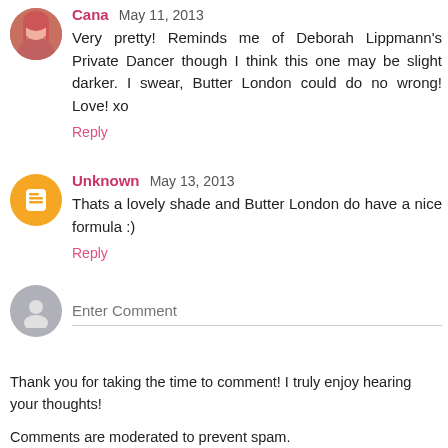Cana May 11, 2013
Very pretty! Reminds me of Deborah Lippmann's Private Dancer though I think this one may be slight darker. I swear, Butter London could do no wrong! Love! xo
Reply
Unknown May 13, 2013
Thats a lovely shade and Butter London do have a nice formula :)
Reply
Enter Comment
Thank you for taking the time to comment! I truly enjoy hearing your thoughts!
Comments are moderated to prevent spam.
Please note that links, promotions, and offensive /